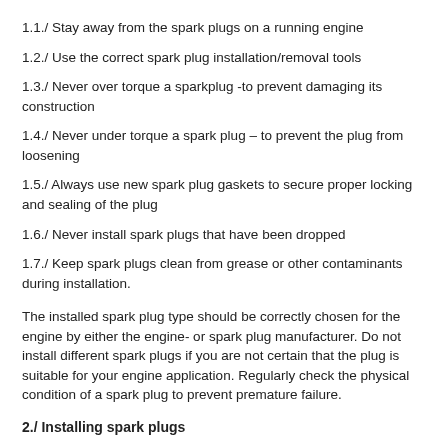1.1./ Stay away from the spark plugs on a running engine
1.2./ Use the correct spark plug installation/removal tools
1.3./ Never over torque a sparkplug -to prevent damaging its construction
1.4./ Never under torque a spark plug – to prevent the plug from loosening
1.5./ Always use new spark plug gaskets to secure proper locking and sealing of the plug
1.6./ Never install spark plugs that have been dropped
1.7./ Keep spark plugs clean from grease or other contaminants during installation.
The installed spark plug type should be correctly chosen for the engine by either the engine- or spark plug manufacturer. Do not install different spark plugs if you are not certain that the plug is suitable for your engine application. Regularly check the physical condition of a spark plug to prevent premature failure.
2./ Installing spark plugs